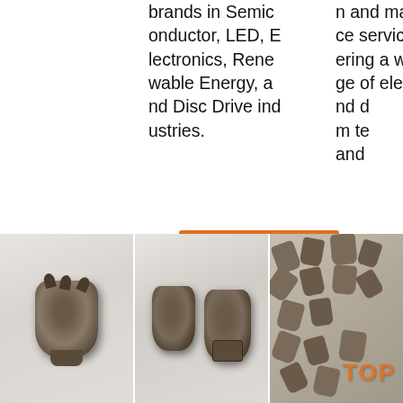brands in Semiconductor, LED, Electronics, Renewable Energy, and Disc Drive industries.
n and maintenance services, covering a wide range of electrical and m te and
[Figure (infographic): 24/7 Online chat overlay with woman wearing headset, dark background, orange QUOTATION button, and 'Click here for free chat!' text]
Get Price
G
[Figure (photo): Close-up photo of a single dark metal drill bit/mining tool on light background]
[Figure (photo): Close-up photo of two dark metal drill bits/mining tools on light background]
[Figure (photo): Multiple drill bits/mining tools arranged on surface, with orange TOP logo text visible]